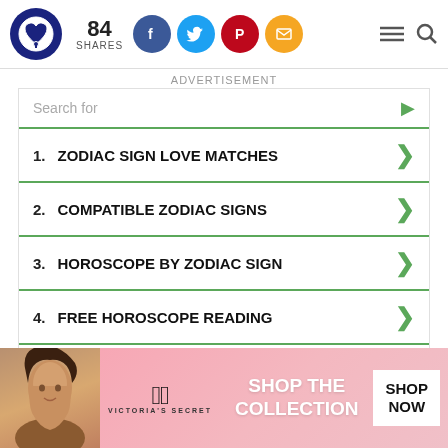84 SHARES
ADVERTISEMENT
Search for
1. ZODIAC SIGN LOVE MATCHES
2. COMPATIBLE ZODIAC SIGNS
3. HOROSCOPE BY ZODIAC SIGN
4. FREE HOROSCOPE READING
5. ABOUT YOUR ZODIAC SIGN
Yahoo! Search | Sponsored
[Figure (photo): Victoria's Secret banner advertisement with woman and SHOP THE COLLECTION text]